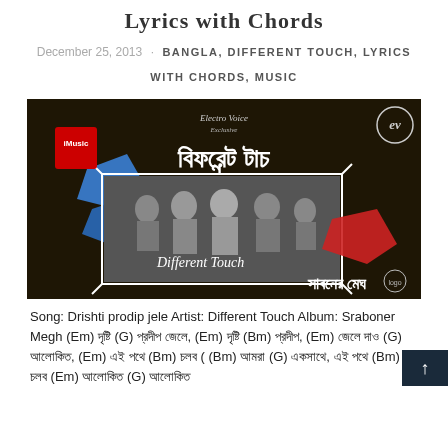Lyrics with Chords
December 25, 2013  BANGLA, DIFFERENT TOUCH, LYRICS WITH CHORDS, MUSIC
[Figure (photo): Album cover for 'Different Touch' band - shows the band members in black and white photo with Bengali text and colorful brush strokes (blue and red), text reads 'Different Touch' and 'Sraboner Megh']
Song: Drishti prodip jele Artist: Different Touch Album: Sraboner Megh (Em) [Bengali] (G) [Bengali] [Bengali], (Em) [Bengali] (Bm) [Bengali], (Em) [Bengali] [Bengali] (G) [Bengali], (Em) [Bengali] [Bengali] (Bm) [Bengali] ( [Bengali] (G) [Bengali] [Bengali], [Bengali] [Bengali] (Bm) [Bengali] (Em) [Bengali] (G) [Bengali]